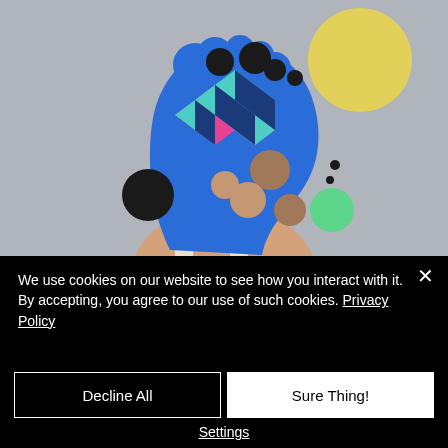[Figure (illustration): A person with a blue illustrated head silhouette containing colorful 3D geometric cube patterns in pink, teal, and dark blue. Various floating circles in black, brown, green, and yellow surround the head against a light grey background.]
We use cookies on our website to see how you interact with it. By accepting, you agree to our use of such cookies. Privacy Policy
Decline All
Sure Thing!
Settings